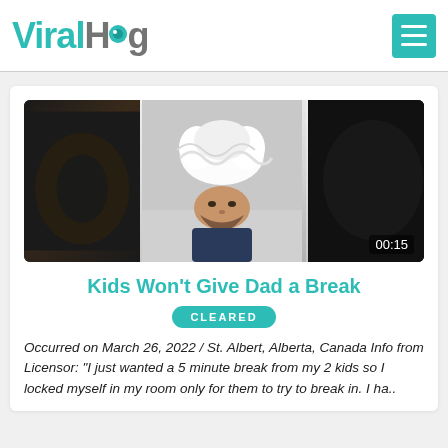ViralHog
[Figure (screenshot): Video thumbnail showing three panels: dark panels on left and right, center panel showing a man lying on the floor with toilet paper rolls on his head, looking at the camera. Timestamp 00:15 visible in bottom right.]
Kids Won't Give Dad a Break
CLEARED
Occurred on March 26, 2022 / St. Albert, Alberta, Canada Info from Licensor: "I just wanted a 5 minute break from my 2 kids so I locked myself in my room only for them to try to break in. I ha..